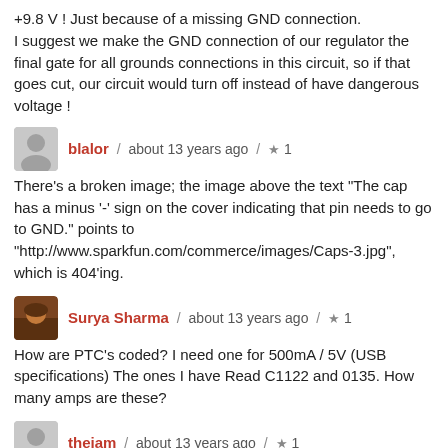+9.8 V ! Just because of a missing GND connection.
I suggest we make the GND connection of our regulator the final gate for all grounds connections in this circuit, so if that goes cut, our circuit would turn off instead of have dangerous voltage !
blalor / about 13 years ago / ★ 1
There's a broken image; the image above the text "The cap has a minus '-' sign on the cover indicating that pin needs to go to GND." points to "http://www.sparkfun.com/commerce/images/Caps-3.jpg", which is 404'ing.
Surya Sharma / about 13 years ago / ★ 1
How are PTC's coded? I need one for 500mA / 5V (USB specifications) The ones I have Read C1122 and 0135. How many amps are these?
thejam / about 13 years ago / ★ 1
I just got the parts in the mail yesterday... What's funny to me is that I thought all the components were much bigger than they actually are. Probably because I've only been looking at pictures for the past 2 weeks.